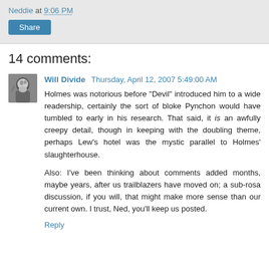Neddie at 9:06 PM
Share
14 comments:
Will Divide  Thursday, April 12, 2007 5:49:00 AM
Holmes was notorious before "Devil" introduced him to a wide readership, certainly the sort of bloke Pynchon would have tumbled to early in his research. That said, it is an awfully creepy detail, though in keeping with the doubling theme, perhaps Lew's hotel was the mystic parallel to Holmes' slaughterhouse.

Also: I've been thinking about comments added months, maybe years, after us trailblazers have moved on; a sub-rosa discussion, if you will, that might make more sense than our current own. I trust, Ned, you'll keep us posted.
Reply